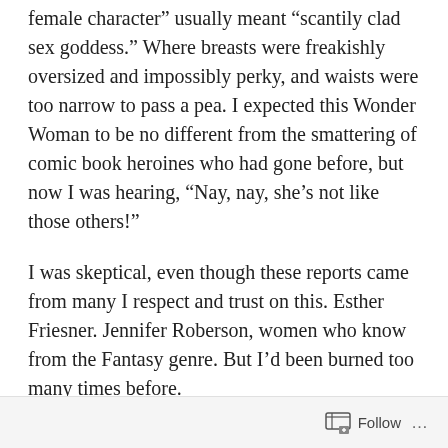female character” usually meant “scantily clad sex goddess.” Where breasts were freakishly oversized and impossibly perky, and waists were too narrow to pass a pea. I expected this Wonder Woman to be no different from the smattering of comic book heroines who had gone before, but now I was hearing, “Nay, nay, she’s not like those others!”
I was skeptical, even though these reports came from many I respect and trust on this. Esther Friesner. Jennifer Roberson, women who know from the Fantasy genre. But I’d been burned too many times before.
I take you back to 1966. Star Trek.  The much vaunted, ground-breaking, women-and-
Follow ...